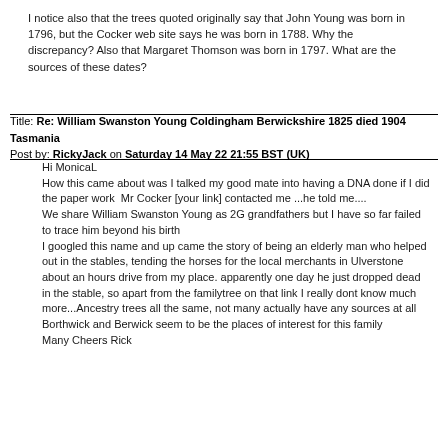I notice also that the trees quoted originally say that John Young was born in 1796, but the Cocker web site says he was born in 1788. Why the discrepancy? Also that Margaret Thomson was born in 1797. What are the sources of these dates?
Title: Re: William Swanston Young Coldingham Berwickshire 1825 died 1904 Tasmania
Post by: RickyJack on Saturday 14 May 22 21:55 BST (UK)
Hi MonicaL
How this came about was I talked my good mate into having a DNA done if I did the paper work  Mr Cocker [your link] contacted me ...he told me....
We share William Swanston Young as 2G grandfathers but I have so far failed to trace him beyond his birth
I googled this name and up came the story of being an elderly man who helped out in the stables, tending the horses for the local merchants in Ulverstone about an hours drive from my place. apparently one day he just dropped dead in the stable, so apart from the familytree on that link I really dont know much more...Ancestry trees all the same, not many actually have any sources at all
Borthwick and Berwick seem to be the places of interest for this family
Many Cheers Rick